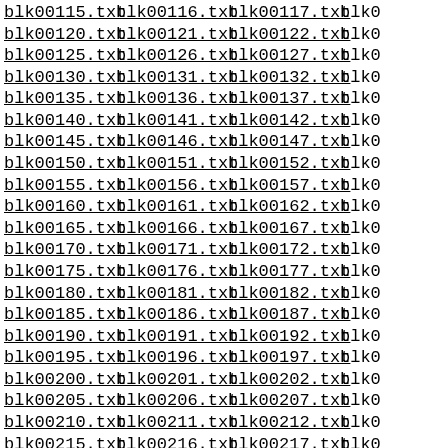blk00115.txt blk00116.txt blk00117.txt blk0...
blk00120.txt blk00121.txt blk00122.txt blk0...
blk00125.txt blk00126.txt blk00127.txt blk0...
blk00130.txt blk00131.txt blk00132.txt blk0...
blk00135.txt blk00136.txt blk00137.txt blk0...
blk00140.txt blk00141.txt blk00142.txt blk0...
blk00145.txt blk00146.txt blk00147.txt blk0...
blk00150.txt blk00151.txt blk00152.txt blk0...
blk00155.txt blk00156.txt blk00157.txt blk0...
blk00160.txt blk00161.txt blk00162.txt blk0...
blk00165.txt blk00166.txt blk00167.txt blk0...
blk00170.txt blk00171.txt blk00172.txt blk0...
blk00175.txt blk00176.txt blk00177.txt blk0...
blk00180.txt blk00181.txt blk00182.txt blk0...
blk00185.txt blk00186.txt blk00187.txt blk0...
blk00190.txt blk00191.txt blk00192.txt blk0...
blk00195.txt blk00196.txt blk00197.txt blk0...
blk00200.txt blk00201.txt blk00202.txt blk0...
blk00205.txt blk00206.txt blk00207.txt blk0...
blk00210.txt blk00211.txt blk00212.txt blk0...
blk00215.txt blk00216.txt blk00217.txt blk0...
blk00220.txt blk00221.txt blk00222.txt blk0...
blk00225.txt blk00226.txt blk00227.txt blk0...
blk00230.txt blk00231.txt blk00232.txt blk0...
blk00235.txt blk00236.txt blk00237.txt blk0...